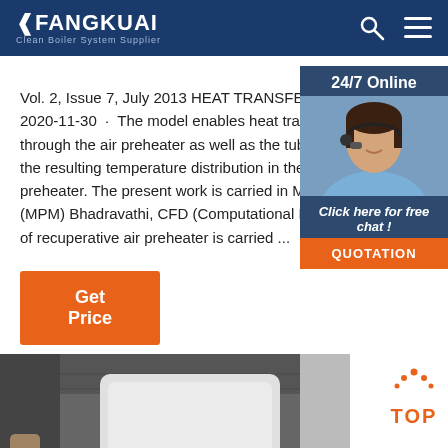FANGKUAI Clean Boiler System Supplier
Vol. 2, Issue 7, July 2013 HEAT TRANSFER ANALYS... 2020-11-30 · The model enables heat transfer c through the air preheater as well as the tubular the resulting temperature distribution in the m preheater. The present work is carried in Mysor (MPM) Bhadravathi, CFD (Computational Fluid D of recuperative air preheater is carried ...
Get Price
[Figure (photo): Customer service agent with headset, 24/7 Online support widget with QUOTATION button]
[Figure (photo): Fangkuai boiler unit mounted on ceiling/wall in industrial setting, with TOP navigation button]